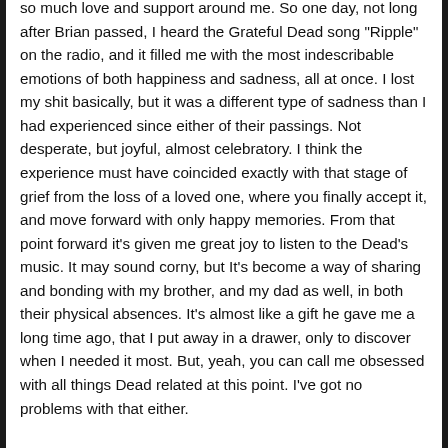so much love and support around me. So one day, not long after Brian passed, I heard the Grateful Dead song "Ripple" on the radio, and it filled me with the most indescribable emotions of both happiness and sadness, all at once. I lost my shit basically, but it was a different type of sadness than I had experienced since either of their passings. Not desperate, but joyful, almost celebratory. I think the experience must have coincided exactly with that stage of grief from the loss of a loved one, where you finally accept it, and move forward with only happy memories. From that point forward it's given me great joy to listen to the Dead's music. It may sound corny, but It's become a way of sharing and bonding with my brother, and my dad as well, in both their physical absences. It's almost like a gift he gave me a long time ago, that I put away in a drawer, only to discover when I needed it most. But, yeah, you can call me obsessed with all things Dead related at this point. I've got no problems with that either.